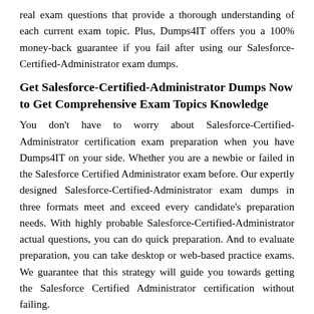real exam questions that provide a thorough understanding of each current exam topic. Plus, Dumps4IT offers you a 100% money-back guarantee if you fail after using our Salesforce-Certified-Administrator exam dumps.
Get Salesforce-Certified-Administrator Dumps Now to Get Comprehensive Exam Topics Knowledge
You don't have to worry about Salesforce-Certified-Administrator certification exam preparation when you have Dumps4IT on your side. Whether you are a newbie or failed in the Salesforce Certified Administrator exam before. Our expertly designed Salesforce-Certified-Administrator exam dumps in three formats meet and exceed every candidate's preparation needs. With highly probable Salesforce-Certified-Administrator actual questions, you can do quick preparation. And to evaluate preparation, you can take desktop or web-based practice exams. We guarantee that this strategy will guide you towards getting the Salesforce Certified Administrator certification without failing.
Try Free Demo to Check Salesforce-Certified-Administrator Dumps Features Before Buying
Dumps4it has a solution for you that'll help you prepare with the latest